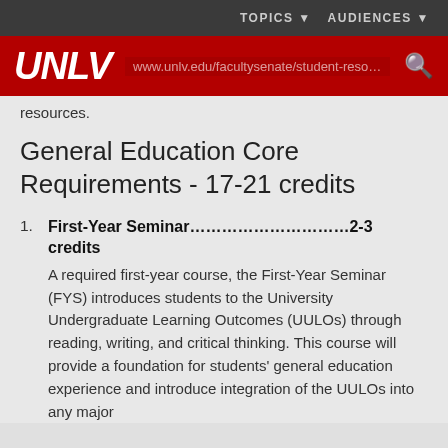TOPICS   AUDIENCES
UNLV  www.unlv.edu/facultysenate/student-resources
resources.
General Education Core Requirements - 17-21 credits
First-Year Seminar…………………2-3 credits
A required first-year course, the First-Year Seminar (FYS) introduces students to the University Undergraduate Learning Outcomes (UULOs) through reading, writing, and critical thinking. This course will provide a foundation for students' general education experience and introduce integration of the UULOs into any major